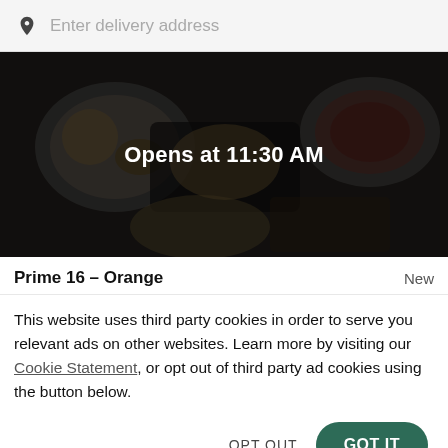Enter delivery address
[Figure (photo): Overhead photo of various food dishes on plates and trays, with a dark overlay. Text overlay reads 'Opens at 11:30 AM'.]
Prime 16 – Orange
New
This website uses third party cookies in order to serve you relevant ads on other websites. Learn more by visiting our Cookie Statement, or opt out of third party ad cookies using the button below.
OPT OUT
GOT IT